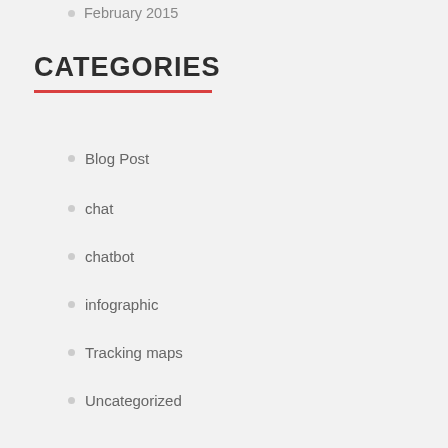February 2015
CATEGORIES
Blog Post
chat
chatbot
infographic
Tracking maps
Uncategorized
META
Log in